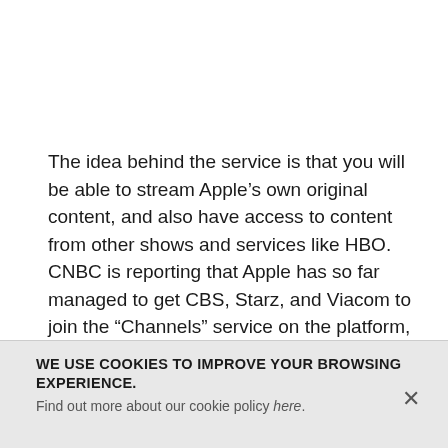The idea behind the service is that you will be able to stream Apple’s own original content, and also have access to content from other shows and services like HBO. CNBC is reporting that Apple has so far managed to get CBS, Starz, and Viacom to join the “Channels” service on the platform, which allows users to subscribe to other services through Apple.
HBO is still in talks with Cupertino and could end up joining the service — however, the company isn’t
WE USE COOKIES TO IMPROVE YOUR BROWSING EXPERIENCE. Find out more about our cookie policy here.